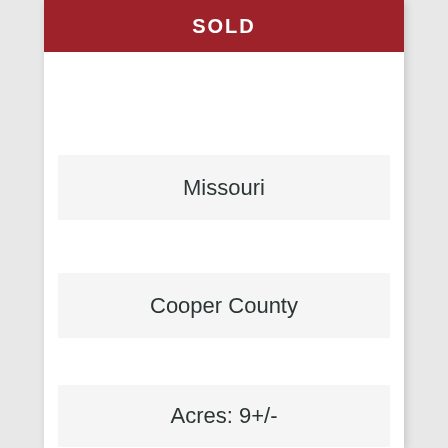SOLD
Missouri
Cooper County
Acres: 9+/-
Asking Price: